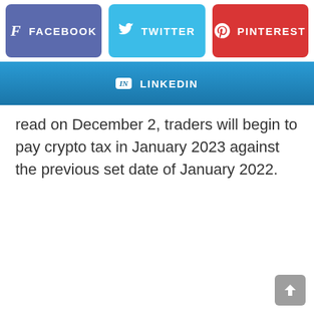[Figure (other): Social media share buttons: Facebook (purple), Twitter (blue), Pinterest (red) in a row]
[Figure (other): LinkedIn share button (blue gradient)]
read on December 2, traders will begin to pay crypto tax in January 2023 against the previous set date of January 2022.